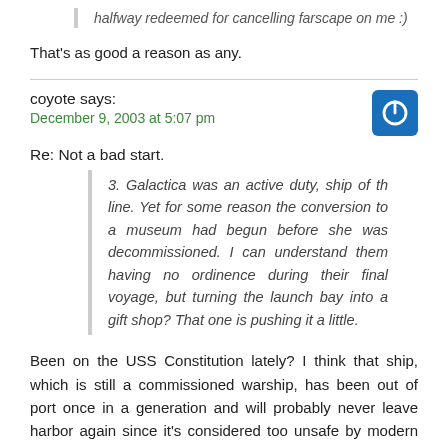halfway redeemed for cancelling farscape on me :)
That's as good a reason as any.
coyote says: December 9, 2003 at 5:07 pm
Re: Not a bad start.
3. Galactica was an active duty, ship of th line. Yet for some reason the conversion to a museum had begun before she was decommissioned. I can understand them having no ordinence during their final voyage, but turning the launch bay into a gift shop? That one is pushing it a little.
Been on the USS Constitution lately? I think that ship, which is still a commissioned warship, has been out of port once in a generation and will probably never leave harbor again since it's considered too unsafe by modern standards.
The same thing might have happened here – the “last of its kind” ship remained a commissioned ship for ceremonial purposes (and